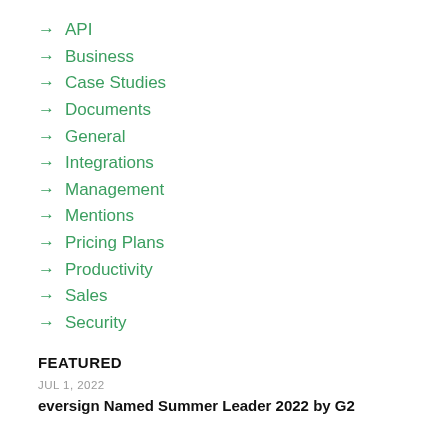→ API
→ Business
→ Case Studies
→ Documents
→ General
→ Integrations
→ Management
→ Mentions
→ Pricing Plans
→ Productivity
→ Sales
→ Security
FEATURED
JUL 1, 2022
eversign Named Summer Leader 2022 by G2